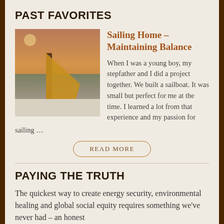PAST FAVORITES
[Figure (photo): Photo of a sailboat or sailing scene at sunset/dusk, showing what appears to be a mast or pole extending over water with warm orange/golden tones]
Sailing Home – Maintaining Balance
When I was a young boy, my stepfather and I did a project together. We built a sailboat. It was small but perfect for me at the time. I learned a lot from that experience and my passion for sailing …
READ MORE
PAYING THE TRUTH
The quickest way to create energy security, environmental healing and global social equity requires something we've never had – an honest